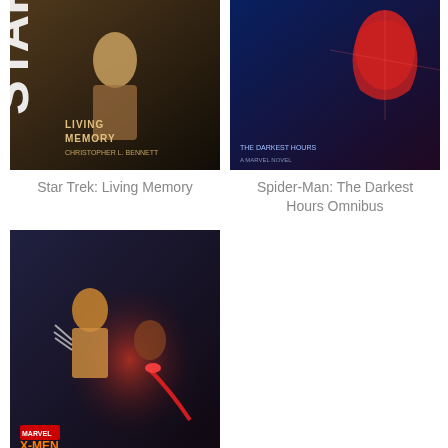[Figure (photo): Book cover for Star Trek: Living Memory]
Star Trek: Living Memory
[Figure (photo): Book cover for Spider-Man: The Darkest Hours Omnibus]
Spider-Man: The Darkest Hours Omnibus
[Figure (photo): Book cover for X-Men: Watchers on the Walls (audio)]
X-Men: Watchers on the Walls (audio)
Recent Posts
A few minor updates